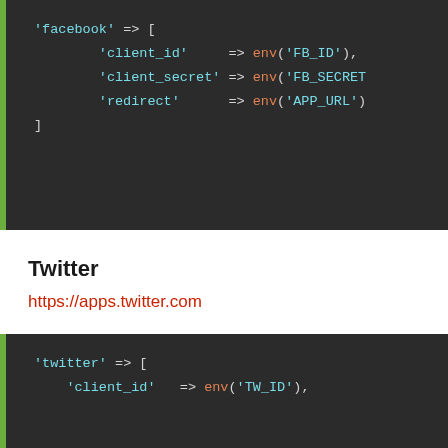[Figure (screenshot): Code block showing PHP/Laravel config for Facebook OAuth with client_id, client_secret, redirect fields using env() helper, dark background with green left border.]
Twitter
https://apps.twitter.com
[Figure (screenshot): Code block showing PHP/Laravel config for Twitter OAuth with twitter key and client_id field using env() helper, dark background with green left border.]